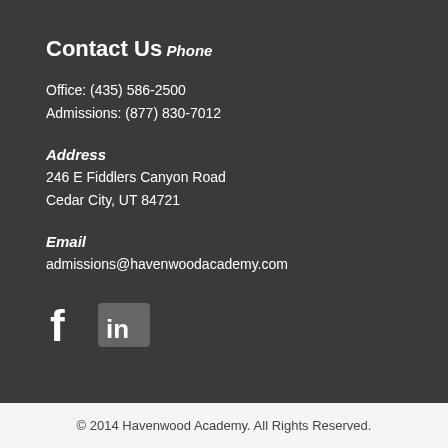Contact Us
Phone
Office: (435) 586-2500
Admissions: (877) 830-7012
Address
246 E Fiddlers Canyon Road
Cedar City, UT 84721
Email
admissions@havenwoodacademy.com
[Figure (logo): Facebook and LinkedIn social media icons in white on dark background]
© 2014 Havenwood Academy. All Rights Reserved.